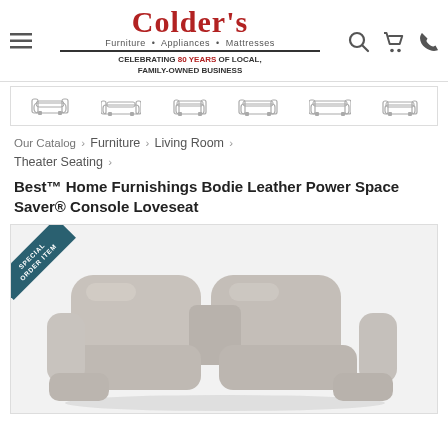[Figure (logo): Colder's Furniture Appliances Mattresses logo with tagline 'Celebrating 80 Years of Local, Family-Owned Business']
[Figure (illustration): Furniture category navigation strip showing outline icons of various sofa/seating styles]
Our Catalog › Furniture › Living Room › Theater Seating ›
Best™ Home Furnishings Bodie Leather Power Space Saver® Console Loveseat
[Figure (photo): Photo of a gray leather power recliner loveseat with console, labeled Special Order Item with a teal diagonal banner in top-left corner]